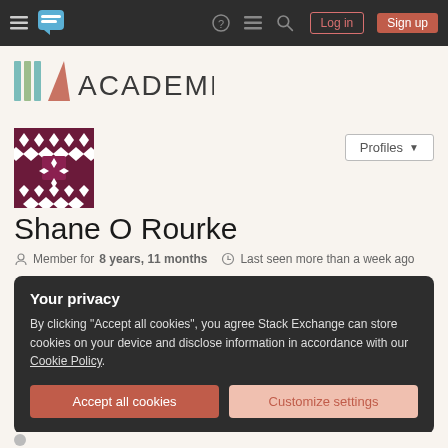Academia Stack Exchange navigation bar with Log in and Sign up buttons
[Figure (logo): Academia Stack Exchange logo with stylized book/lines icon and ACADEMIA text]
[Figure (illustration): User avatar: dark red/maroon geometric diamond pattern on square background]
Shane O Rourke
Member for 8 years, 11 months   Last seen more than a week ago
Your privacy
By clicking "Accept all cookies", you agree Stack Exchange can store cookies on your device and disclose information in accordance with our Cookie Policy.
Accept all cookies   Customize settings